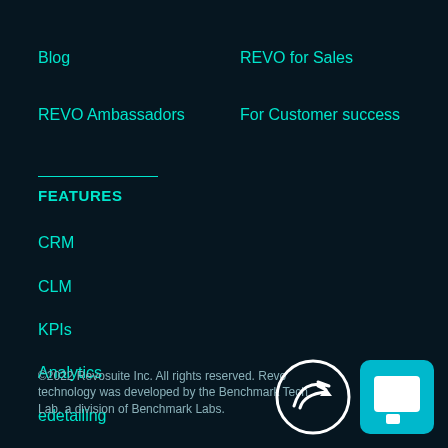Blog
REVO for Sales
REVO Ambassadors
For Customer success
FEATURES
CRM
CLM
KPIs
Analytics
edetailing
©2022 Revosuite Inc. All rights reserved. Revo technology was developed by the Benchmark Tech Lab, a division of Benchmark Labs.
[Figure (logo): Revo circular logo (white outline on dark) and teal square chat icon with white square symbol]